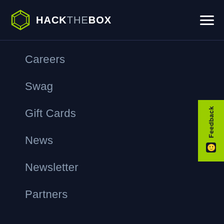HACKTHEBOX
Careers
Swag
Gift Cards
News
Newsletter
Partners
Resources
Knowledge Base
Blog